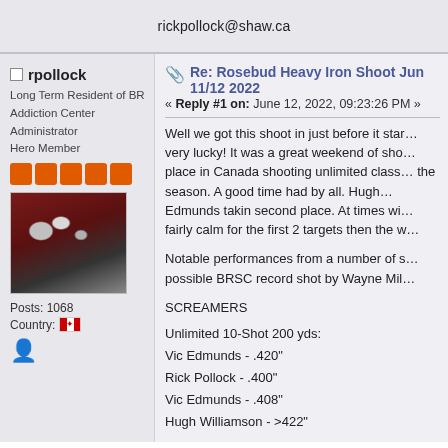rickpollock@shaw.ca
rpollock
Long Term Resident of BR Addiction Center
Administrator
Hero Member
[Figure (photo): Close-up photo of a rifle or firearm mechanism]
Posts: 1068
Country: [Canadian flag]
Re: Rosebud Heavy Iron Shoot Jun 11/12 2022
« Reply #1 on: June 12, 2022, 09:23:26 PM »
Well we got this shoot in just before it star... very lucky! It was a great weekend of sho... place in Canada shooting unlimited class... the season. A good time had by all. Hugh... Edmunds takin second place. At times wi... fairly calm for the first 2 targets then the w...
Notable performances from a number of s... possible BRSC record shot by Wayne Mil...
SCREAMERS
Unlimited 10-Shot 200 yds:
Vic Edmunds - .420"
Rick Pollock - .400"
Vic Edmunds - .408"
Hugh Williamson - >422"